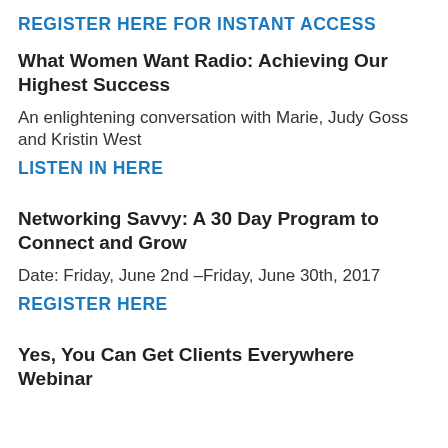REGISTER HERE FOR INSTANT ACCESS
What Women Want Radio: Achieving Our Highest Success
An enlightening conversation with Marie, Judy Goss and Kristin West
LISTEN IN HERE
Networking Savvy: A 30 Day Program to Connect and Grow
Date: Friday, June 2nd –Friday, June 30th, 2017
REGISTER HERE
Yes, You Can Get Clients Everywhere Webinar